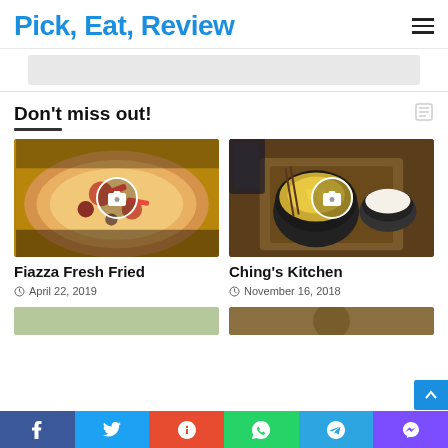Pick, Eat, Review
[Figure (screenshot): Banner/advertisement gray placeholder bar]
Don't miss out!
[Figure (photo): Pizza with toppings - Fiazza Fresh Fried restaurant photo with camera icon overlay]
Fiazza Fresh Fried
April 22, 2019
[Figure (photo): Korean/Asian food bowl with corn and rice - Ching's Kitchen photo with camera icon overlay]
Ching's Kitchen
November 16, 2018
f  Twitter  Stumbleupon  WhatsApp  Telegram  Viber